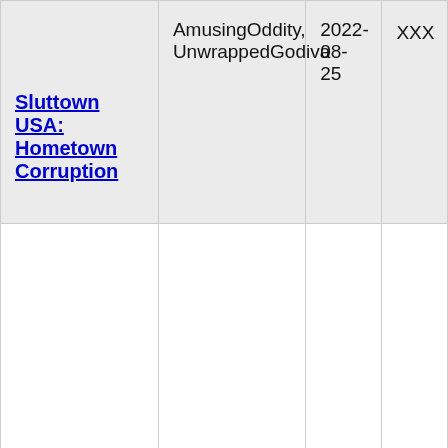| Sluttown USA: Hometown Corruption | AmusingOddity, UnwrappedGodiva | 2022-08-25 | XXX |
| Adventure High | Changer | 2022-08-25 | X |